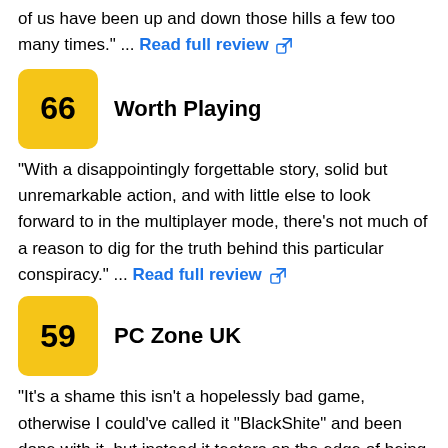of us have been up and down those hills a few too many times." ... Read full review
Worth Playing — score 66
"With a disappointingly forgettable story, solid but unremarkable action, and with little else to look forward to in the multiplayer mode, there's not much of a reason to dig for the truth behind this particular conspiracy." ... Read full review
PC Zone UK — score 59
"It's a shame this isn't a hopelessly bad game, otherwise I could've called it "BlackShite" and been done with it, but instead it teeters on the edge of being a worthwhile purchase before deciding it's comfortable being ordinary and forgettable. [Feb 2008, p.72]"